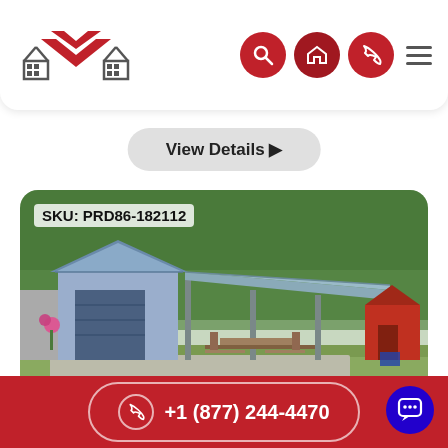Navigation header with logo and icons
View Details ▶
[Figure (photo): Metal carport/garage structure with open lean-to canopy extension, surrounded by trees and rural scenery. SKU: PRD86-182112 label in upper left.]
+1 (877) 244-4470